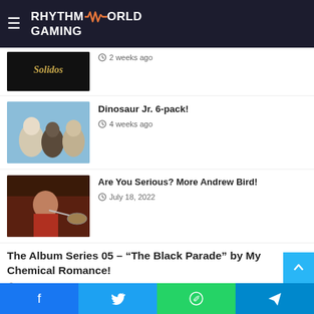RHYTHM GAMING WORLD
2 weeks ago
Dinosaur Jr. 6-pack!
4 weeks ago
Are You Serious? More Andrew Bird!
July 18, 2022
The Album Series 05 – “The Black Parade” by My Chemical Romance!
July 13, 2022